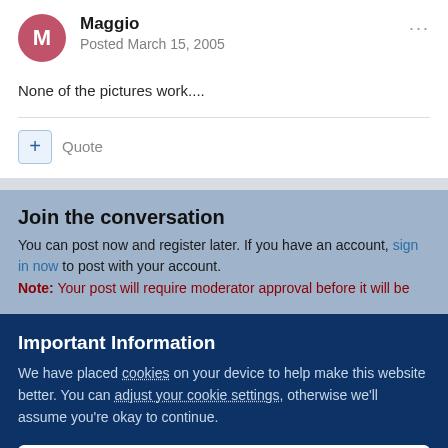Maggio
Posted March 15, 2005
None of the pictures work....
+ Quote
Join the conversation
You can post now and register later. If you have an account, sign in now to post with your account.
Note: Your post will require moderator approval before it will be
Important Information
We have placed cookies on your device to help make this website better. You can adjust your cookie settings, otherwise we'll assume you're okay to continue.
✓  I accept